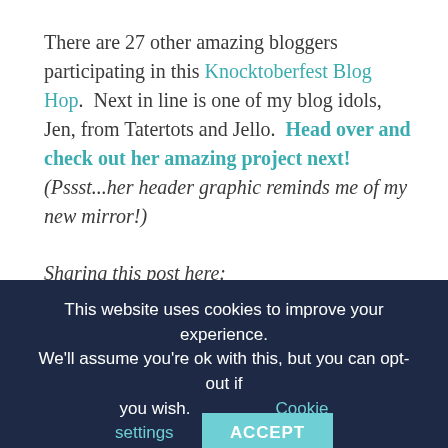There are 27 other amazing bloggers participating in this Knocktoberfest Blog Hop. Next in line is one of my blog idols, Jen, from Tatertots and Jello. Head over and check out her amazing project next! (Pssst...her header graphic reminds me of my new mirror!)
Sharing this post here:
Serenity Now – Weekend Bloggy Reading
Six Sister's Stuff – Strut Your Stuff Saturday
This website uses cookies to improve your experience. We'll assume you're ok with this, but you can opt-out if you wish.